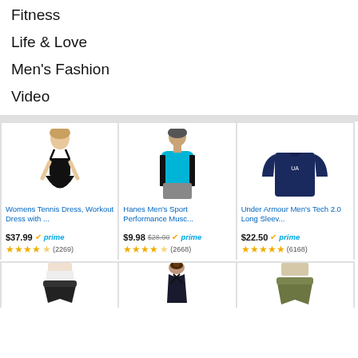Fitness
Life & Love
Men's Fashion
Video
[Figure (screenshot): E-commerce product grid showing 3 clothing items: Womens Tennis Dress Workout Dress $37.99 prime 4.5 stars (2269), Hanes Men's Sport Performance Musc... $9.98 was $28.00 prime 4.5 stars (2668), Under Armour Men's Tech 2.0 Long Sleev... $22.50 prime 5 stars (6168)]
[Figure (screenshot): Bottom row of product images partially visible: black shorts, black sports top with cross-back straps, olive/army green shorts]